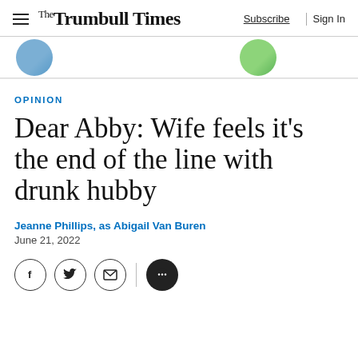The Trumbull Times | Subscribe | Sign In
[Figure (photo): Partial circular avatar images visible at top — one with blue tones on the left, one with green tones on the right, cropped at the top of the content area]
OPINION
Dear Abby: Wife feels it's the end of the line with drunk hubby
Jeanne Phillips, as Abigail Van Buren
June 21, 2022
[Figure (infographic): Social sharing icons: Facebook (f), Twitter (bird), email (envelope), a vertical divider, and a comment bubble icon (dark circle with three dots)]